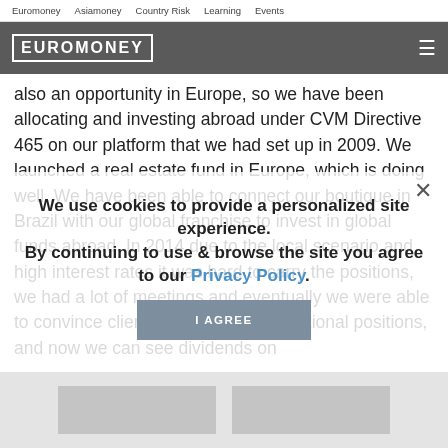Euromoney   Asiamoney   Country Risk   Learning   Events
[Figure (logo): Euromoney logo in white text on dark grey header bar with hamburger menu icon]
also an opportunity in Europe, so we have been allocating and investing abroad under CVM Directive 465 on our platform that we had set up in 2009. We launched a real estate fund in Europe, which is doing well. We have been able to connect our boutique in Brazil with our global franchise to invest in global funds abroad. In 2014 due to the local scenario and high interest rates it was hard to carry the positions, we had a lot of meetings and eventually we were able to convince clients to keep the international positions, and now we can see dividends on
We use cookies to provide a personalized site experience.
By continuing to use & browse the site you agree to our Privacy Policy.
I AGREE
[Figure (photo): Greyed out image placeholder at the bottom of the page]